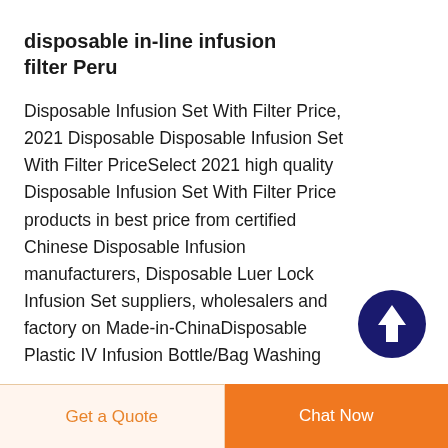disposable in-line infusion filter Peru
Disposable Infusion Set With Filter Price, 2021 Disposable Disposable Infusion Set With Filter PriceSelect 2021 high quality Disposable Infusion Set With Filter Price products in best price from certified Chinese Disposable Infusion manufacturers, Disposable Luer Lock Infusion Set suppliers, wholesalers and factory on Made-in-ChinaDisposable Plastic IV Infusion Bottle/Bag Washing
[Figure (other): Dark blue circular scroll-to-top button with white upward arrow icon]
Get a Quote | Chat Now